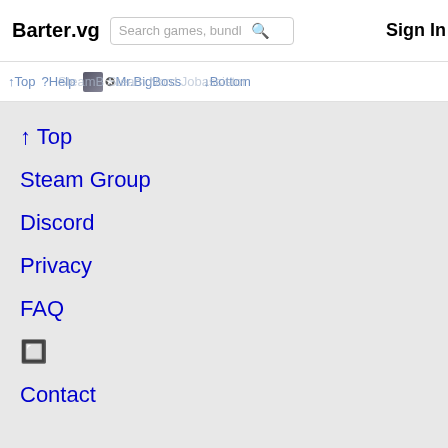Barter.vg
Search games, bundle
Sign In
↑Top
?Help
Mr.BigBoss
↓Bottom
↑ Top
Steam Group
Discord
Privacy
FAQ
🔲
Contact